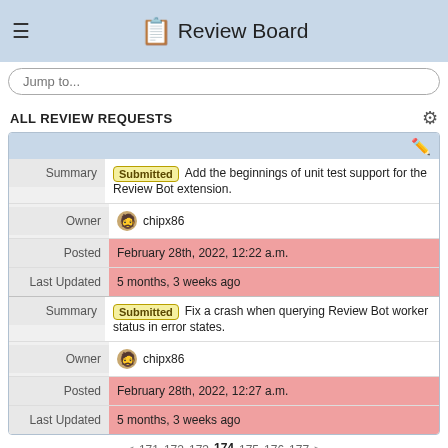Review Board
Jump to...
ALL REVIEW REQUESTS
|  | Summary | Owner | Posted | Last Updated |
| --- | --- | --- | --- | --- |
| Summary | Submitted Add the beginnings of unit test support for the Review Bot extension. |  |  |  |
| Owner | chipx86 |  |  |  |
| Posted | February 28th, 2022, 12:22 a.m. |  |  |  |
| Last Updated | 5 months, 3 weeks ago |  |  |  |
| Summary | Submitted Fix a crash when querying Review Bot worker status in error states. |  |  |  |
| Owner | chipx86 |  |  |  |
| Posted | February 28th, 2022, 12:27 a.m. |  |  |  |
| Last Updated | 5 months, 3 weeks ago |  |  |  |
« < 171 172 173 174 175 176 177 > »
183 pages